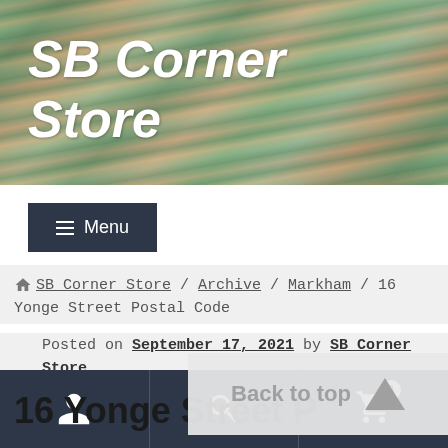SB Corner Store
[Figure (screenshot): Navigation menu button with hamburger icon labeled Menu on dark background]
🏠 SB Corner Store / Archive / Markham / 16 Yonge Street Postal Code
Posted on September 17, 2021 by SB Corner Store
16 Yonge Street P
Back to top
User icon | Search icon | Cart icon with badge 0